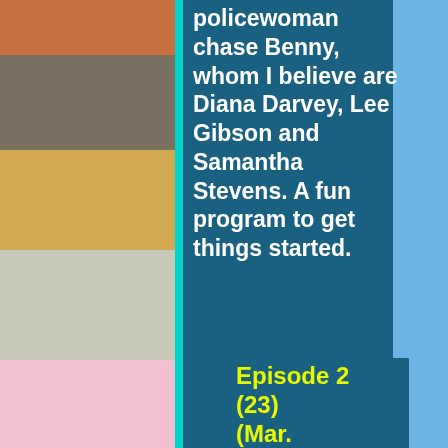[Figure (photo): Column of 7 stacked TV show cast photos on the left side of the page]
policewoman chase Benny, whom I believe are Diana Darvey, Lee Gibson and Samantha Stevens. A fun program to get things started.
Episode 2 (23) (Mar.